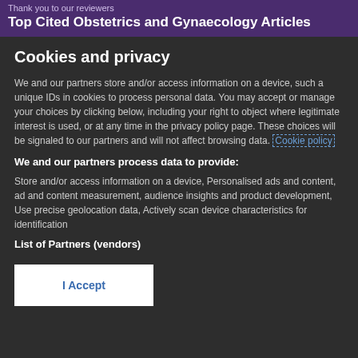Thank you to our reviewers
Top Cited Obstetrics and Gynaecology Articles
Cookies and privacy
We and our partners store and/or access information on a device, such a unique IDs in cookies to process personal data. You may accept or manage your choices by clicking below, including your right to object where legitimate interest is used, or at any time in the privacy policy page. These choices will be signaled to our partners and will not affect browsing data. Cookie policy
We and our partners process data to provide:
Store and/or access information on a device, Personalised ads and content, ad and content measurement, audience insights and product development, Use precise geolocation data, Actively scan device characteristics for identification
List of Partners (vendors)
I Accept